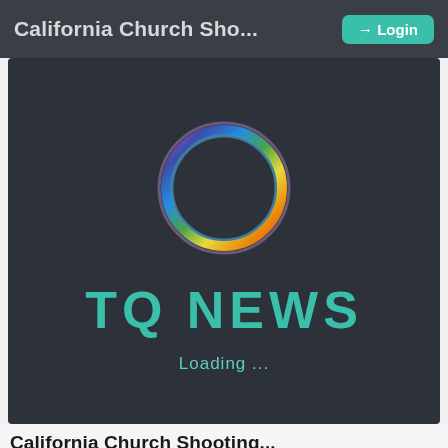California Church Sho...
[Figure (logo): TQ News app loading screen: dark background with a colorful rainbow ring logo at top, large teal bold text 'TQ NEWS' in center, and 'Loading ...' below]
California Church Shooting...
Shawn Hubler, Livia Albeck-Ripk... 3 month...